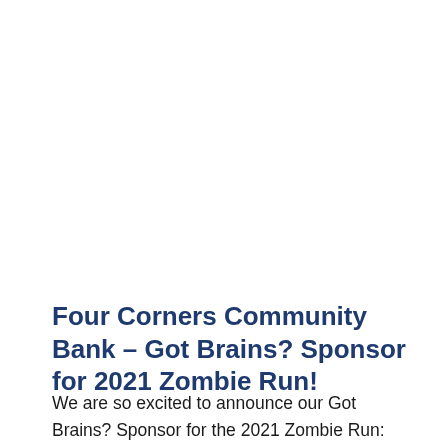Four Corners Community Bank – Got Brains? Sponsor for 2021 Zombie Run!
We are so excited to announce our Got Brains? Sponsor for the 2021 Zombie Run: Four Corners Community Bank! FCCB will provide competitive, locally based banking services tailored to the needs of its customers, providing